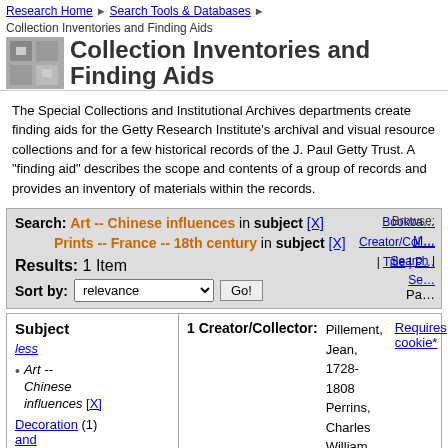Research Home > Search Tools & Databases > Collection Inventories and Finding Aids
Collection Inventories and Finding Aids
The Special Collections and Institutional Archives departments create finding aids for the Getty Research Institute's archival and visual resource collections and for a few historical records of the J. Paul Getty Trust. A "finding aid" describes the scope and contents of a group of records and provides an inventory of materials within the records.
Search: Art -- Chinese influences in subject [X] Prints -- France -- 18th century in subject [X]
Results: 1 Item
Sort by: relevance Go!
Subject less Art -- Chinese influences [X] Decoration and ornament...
1 Creator/Collector: Pillement, Jean, 1728-1808
Perrins, Charles William Dyson, 1864-1958
Requires cookie*